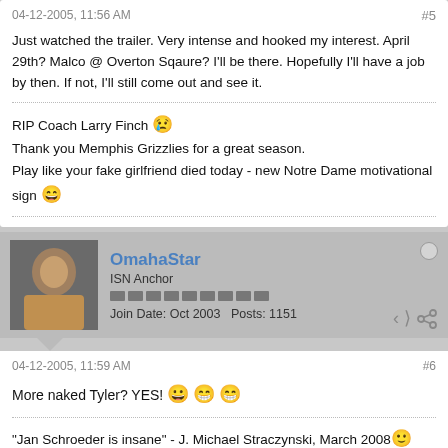04-12-2005, 11:56 AM   #5
Just watched the trailer. Very intense and hooked my interest. April 29th? Malco @ Overton Sqaure? I'll be there. Hopefully I'll have a job by then. If not, I'll still come out and see it.
RIP Coach Larry Finch
Thank you Memphis Grizzlies for a great season.
Play like your fake girlfriend died today - new Notre Dame motivational sign
OmahaStar
ISN Anchor
Join Date: Oct 2003   Posts: 1151
04-12-2005, 11:59 AM   #6
More naked Tyler? YES!
"Jan Schroeder is insane" - J. Michael Straczynski, March 2008